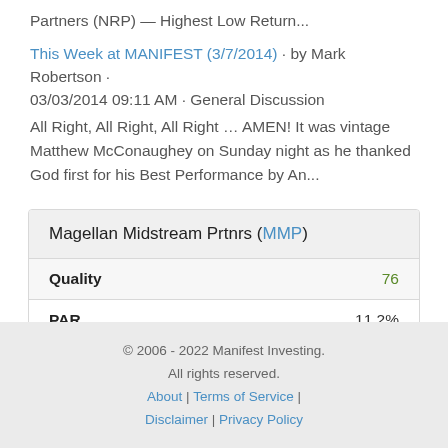Partners (NRP) — Highest Low Return...
This Week at MANIFEST (3/7/2014) · by Mark Robertson · 03/03/2014 09:11 AM · General Discussion
All Right, All Right, All Right … AMEN! It was vintage Matthew McConaughey on Sunday night as he thanked God first for his Best Performance by An...
| Magellan Midstream Prtnrs (MMP) |  |
| --- | --- |
| Quality | 76 |
| PAR | 11.2% |
© 2006 - 2022 Manifest Investing.
All rights reserved.
About | Terms of Service | Disclaimer | Privacy Policy